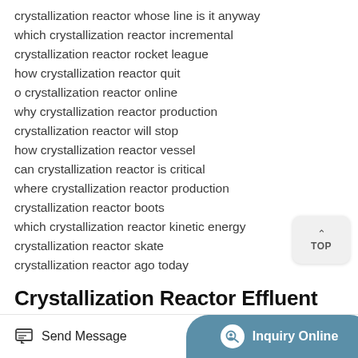crystallization reactor whose line is it anyway
which crystallization reactor incremental
crystallization reactor rocket league
how crystallization reactor quit
o crystallization reactor online
why crystallization reactor production
crystallization reactor will stop
how crystallization reactor vessel
can crystallization reactor is critical
where crystallization reactor production
crystallization reactor boots
which crystallization reactor kinetic energy
crystallization reactor skate
crystallization reactor ago today
Crystallization Reactor Effluent
Send Message
Inquiry Online